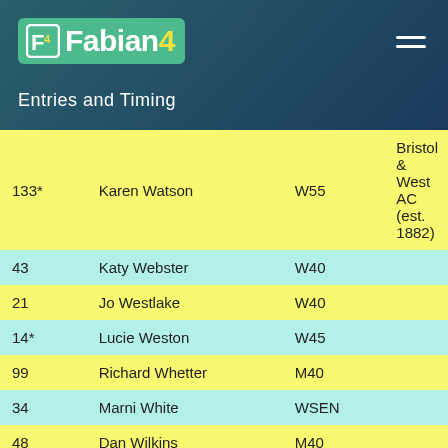Fabian4 — Entries and Timing
| No. | Name | Cat | Club |
| --- | --- | --- | --- |
| 133* | Karen Watson | W55 | Bristol & West AC (est. 1882) |
| 43 | Katy Webster | W40 |  |
| 21 | Jo Westlake | W40 |  |
| 14* | Lucie Weston | W45 |  |
| 99 | Richard Whetter | M40 |  |
| 34 | Marni White | WSEN |  |
| 48 | Dan Wilkins | M40 |  |
| 49 | Natalie Wilkins | WSEN |  |
| 102 | Helen Williamson | WSEN |  |
| 33 | Courtney Winterson | WSEN |  |
5K (35)
| No. | Name | Cat | Club |
| --- | --- | --- | --- |
| 142 | Simonetti Anna | WSEN |  |
| 89 | Karen Ashe | W50 |  |